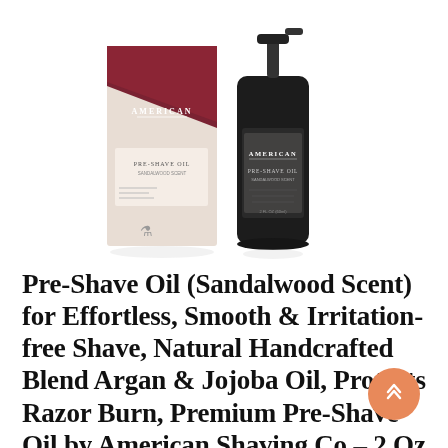[Figure (photo): Product photo showing American Shaving Co Pre-Shave Oil — a dark glass pump bottle next to its maroon and cream retail box, both labeled 'AMERICAN' and 'PRE-SHAVE OIL']
Pre-Shave Oil (Sandalwood Scent) for Effortless, Smooth & Irritation-free Shave, Natural Handcrafted Blend Argan & Jojoba Oil, Protects Razor Burn, Premium Pre-Shave Oil by American Shaving Co – 2 Oz